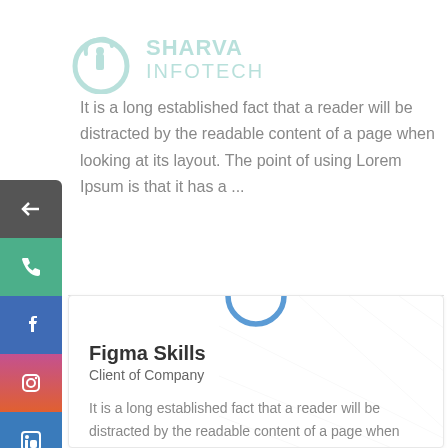[Figure (logo): Sharva Infotech logo watermark with circular icon and text]
It is a long established fact that a reader will be distracted by the readable content of a page when looking at its layout. The point of using Lorem Ipsum is that it has a ...
[Figure (infographic): Vertical sidebar with social media icons: back arrow (dark), phone (green), Facebook (blue), gradient icon, Instagram (gradient), LinkedIn (blue), email (pink)]
[Figure (other): Circular avatar placeholder with blue ring border]
Figma Skills
Client of Company
It is a long established fact that a reader will be distracted by the readable content of a page when looking at its layout. The point of using Lorem Ipsum is that it has a ...